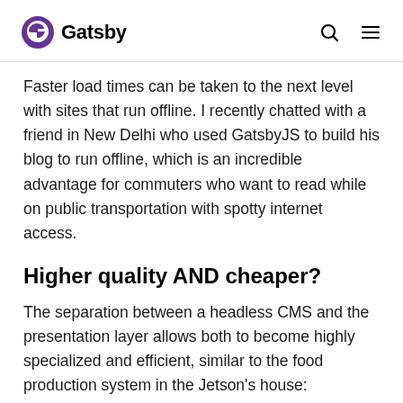Gatsby
Faster load times can be taken to the next level with sites that run offline. I recently chatted with a friend in New Delhi who used GatsbyJS to build his blog to run offline, which is an incredible advantage for commuters who want to read while on public transportation with spotty internet access.
Higher quality AND cheaper?
The separation between a headless CMS and the presentation layer allows both to become highly specialized and efficient, similar to the food production system in the Jetson's house: